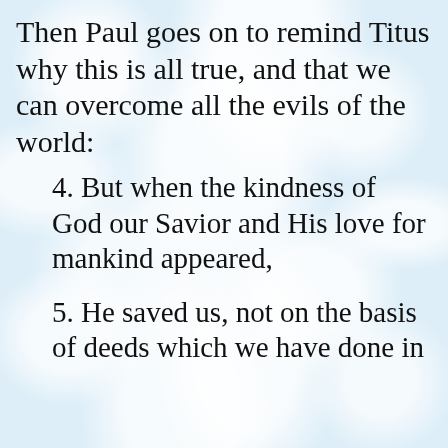Then Paul goes on to remind Titus why this is all true, and that we can overcome all the evils of the world:
4. But when the kindness of God our Savior and His love for mankind appeared,
5. He saved us, not on the basis of deeds which we have done in